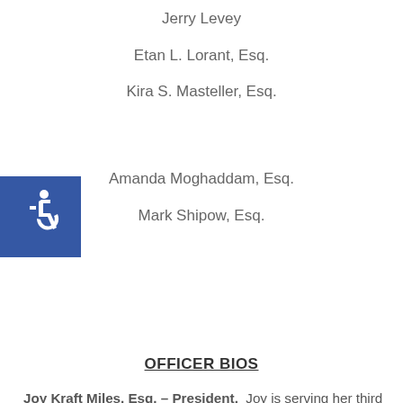Jerry Levey
Etan L. Lorant, Esq.
Kira S. Masteller, Esq.
[Figure (illustration): Blue square with white wheelchair accessibility icon]
Amanda Moghaddam, Esq.
Mark Shipow, Esq.
OFFICER BIOS
Joy Kraft Miles, Esq. – President. Joy is serving her third term as President of the VCLF. In addition to guiding the foundation as a whole, she has served on numerous specific projects related to student scholarships and legal education. She has also engaged local elected officials and leaders to speak to the Board about our community's issues, including Covid-19 and issues facing the unhoused. She has found great satisfaction working with the diverse Board, which includes business leaders, judges, and lawyers, all committed to making the Valley a